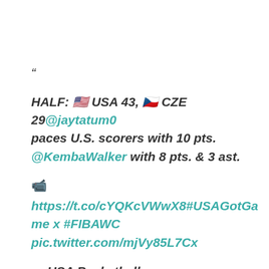“
HALF: 🇺🇸 USA 43, 🇨🇿 CZE 29 @jaytatum0 paces U.S. scorers with 10 pts. @KembaWalker with 8 pts. & 3 ast.
📹
https://t.co/cYQKcVWwX8#USAGotGame x #FIBAWC pic.twitter.com/mjVy85L7Cx
— USA Basketball (@usabasketball) September 1, 2019”